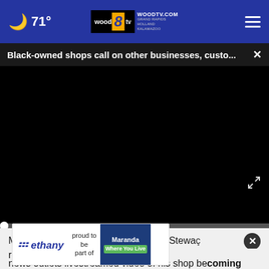71° | WOODTV.COM GRAND RAPIDS HOLLAND KALAMAZOO
Black-owned shops call on other businesses, custo... ×
[Figure (screenshot): Black video player area, currently paused showing black screen with fullscreen arrow icon in bottom right]
Manger at Villa Clothing Store Melvin Stewa...
remer...and news outlets livestreamed video of his shop becoming